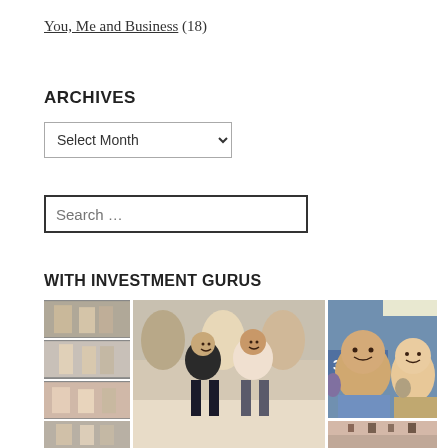You, Me and Business (18)
ARCHIVES
Select Month (dropdown)
Search …
WITH INVESTMENT GURUS
[Figure (photo): A gallery of photos showing the author with investment gurus, including small thumbnail images on the left and larger photos on the right showing groups of people at events and a BSE building selfie.]